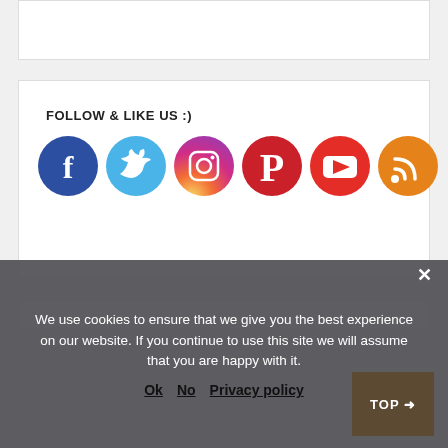[Figure (other): Top white box (partial content area)]
FOLLOW & LIKE US :)
[Figure (infographic): Row of social media icons: Facebook, Twitter, Instagram, Pinterest, YouTube, RSS]
[Figure (other): Bottom white box (partial content area)]
We use cookies to ensure that we give you the best experience on our website. If you continue to use this site we will assume that you are happy with it.
Ok   No   Privacy policy